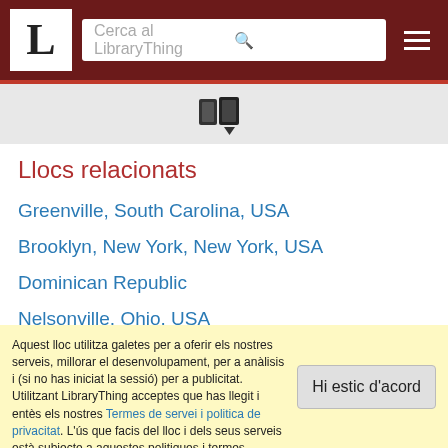L | Cerca al LibraryThing
[Figure (logo): LibraryThing books icon with arrow]
Llocs relacionats
Greenville, South Carolina, USA
Brooklyn, New York, New York, USA
Dominican Republic
Nelsonville, Ohio, USA
(mostra tots els 8 ítems)
Aquest lloc utilitza galetes per a oferir els nostres serveis, millorar el desenvolupament, per a anàlisis i (si no has iniciat la sessió) per a publicitat. Utilitzant LibraryThing acceptes que has llegit i entès els nostres Termes de servei i politica de privacitat. L'ús que facis del lloc i dels seus serveis està subjecte a aquestes politiques i termes.